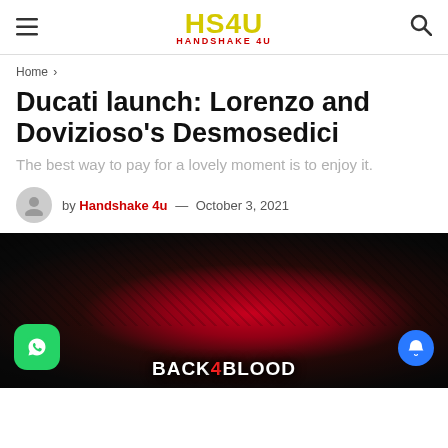HS4U HANDSHAKE 4U
Home >
Ducati launch: Lorenzo and Dovizioso's Desmosedici
The best way to pay for a lovely moment is to enjoy it.
by Handshake 4u — October 3, 2021
[Figure (photo): Dark promotional image for Back 4 Blood game, showing a red glowing center surrounded by dark crowd scenes, with 'BACK 4 BLOOD' logo text at the bottom. WhatsApp button at bottom-left and notification bell at bottom-right.]